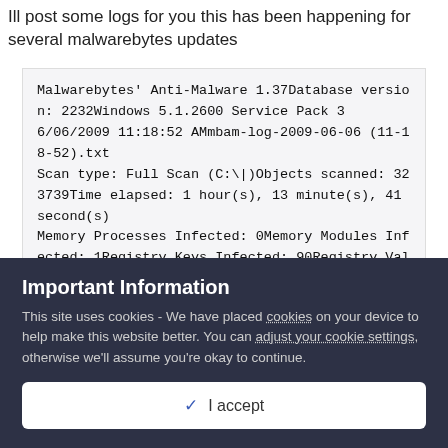Ill post some logs for you this has been happening for several malwarebytes updates
Malwarebytes' Anti-Malware 1.37Database version: 2232Windows 5.1.2600 Service Pack 3
6/06/2009 11:18:52 AMmbam-log-2009-06-06 (11-18-52).txt
Scan type: Full Scan (C:\|)Objects scanned: 323739Time elapsed: 1 hour(s), 13 minute(s), 41 second(s)
Memory Processes Infected: 0Memory Modules Infected: 1Registry Keys Infected: 90Registry Values Infected: 0Registry Data Items Infected:
Important Information
This site uses cookies - We have placed cookies on your device to help make this website better. You can adjust your cookie settings, otherwise we'll assume you're okay to continue.
✓ I accept